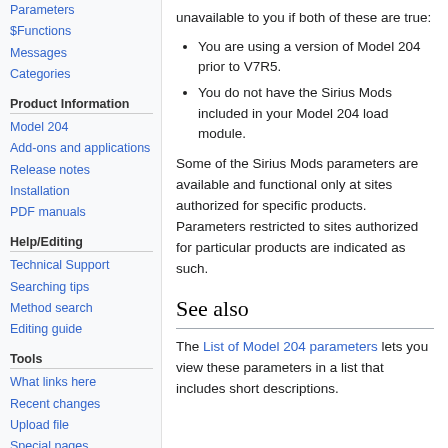Parameters
$Functions
Messages
Categories
Product Information
Model 204
Add-ons and applications
Release notes
Installation
PDF manuals
Help/Editing
Technical Support
Searching tips
Method search
Editing guide
Tools
What links here
Recent changes
Upload file
Special pages
unavailable to you if both of these are true:
You are using a version of Model 204 prior to V7R5.
You do not have the Sirius Mods included in your Model 204 load module.
Some of the Sirius Mods parameters are available and functional only at sites authorized for specific products. Parameters restricted to sites authorized for particular products are indicated as such.
See also
The List of Model 204 parameters lets you view these parameters in a list that includes short descriptions.